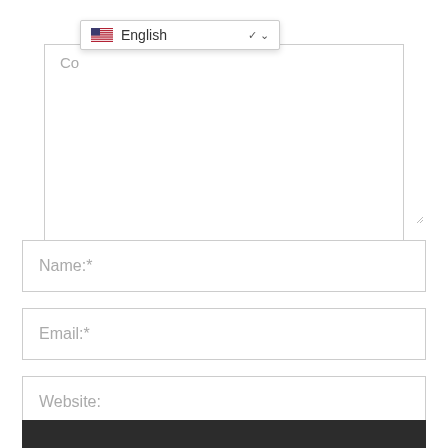[Figure (screenshot): Language selector dropdown showing US flag and 'English' with chevron arrow, overlaid on top of a comment text area]
Co
Name:*
Email:*
Website:
Answer the question: Next Alphabet after A ?*